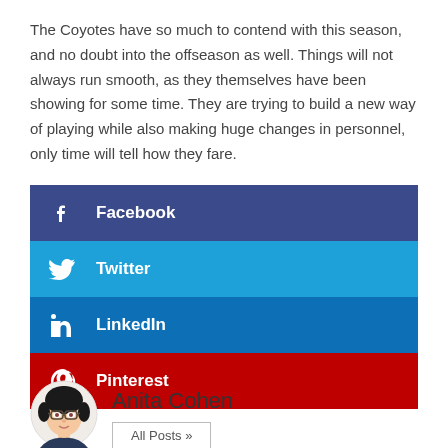The Coyotes have so much to contend with this season, and no doubt into the offseason as well. Things will not always run smooth, as they themselves have been showing for some time. They are trying to build a new way of playing while also making huge changes in personnel, only time will tell how they fare.
[Figure (infographic): Social sharing buttons for Facebook, Twitter, LinkedIn, and Pinterest]
[Figure (illustration): Illustrated avatar portrait of Anita Cohen — a woman with dark hair and glasses]
Anita Cohen
All Posts »